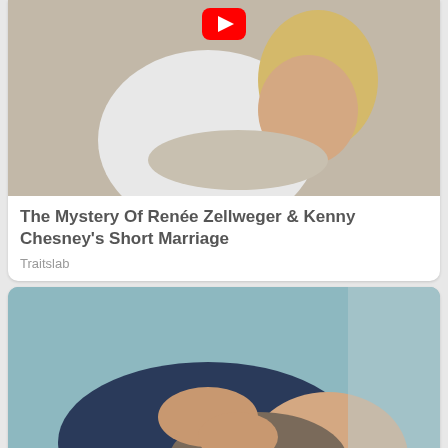[Figure (photo): A couple embracing outdoors, woman with blonde hair leaning on man's shoulder, YouTube play button overlay at top]
The Mystery Of Renée Zellweger & Kenny Chesney's Short Marriage
Traitslab
[Figure (photo): Woman getting hair washed at a salon sink, eyes closed, hands massaging her head]
A Dark Side Of Beauty Salons Not Many